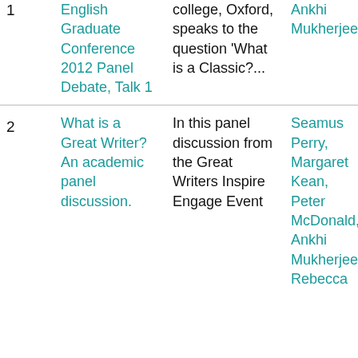| # | Title | Description | Author(s) |
| --- | --- | --- | --- |
| 1 | English Graduate Conference 2012 Panel Debate, Talk 1 | college, Oxford, speaks to the question 'What is a Classic?... | Ankhi Mukherjee |
| 2 | What is a Great Writer? An academic panel discussion. | In this panel discussion from the Great Writers Inspire Engage Event | Seamus Perry, Margaret Kean, Peter McDonald, Ankhi Mukherjee, Rebecca |